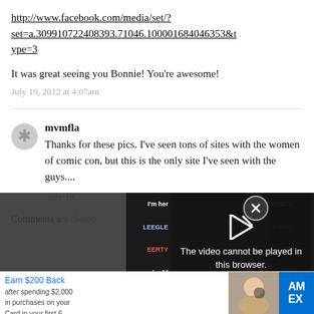http://www.facebook.com/media/set/?set=a.309910722408393.71046.100001684046353&type=3
It was great seeing you Bonnie! You’re awesome!
July 19, 2012 at 4:07am
mvmfla
Thanks for these pics. I’ve seen tons of sites with the women of comic con, but this is the only site I’ve seen with the guys....
July 19,
Comments a
[Figure (screenshot): Video player error overlay showing 'The video cannot be played in this browser. (Error Code: 242632)' with a close button (X) and play arrow icon, overlaid on a dark background with film strip thumbnails]
[Figure (photo): Advertisement banner: Earn $200 Back after spending $2,000 in purchases on your Card in your first 6 — with American Express logo and photo of a woman]